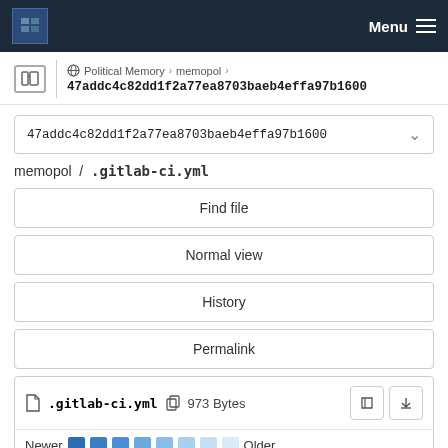Menu
Political Memory › memopol › 47addc4c82dd1f2a77ea8703baeb4effa97b1600
47addc4c82dd1f2a77ea8703baeb4effa97b1600
memopol / .gitlab-ci.yml
Find file
Normal view
History
Permalink
.gitlab-ci.yml  973 Bytes
Newer  Older